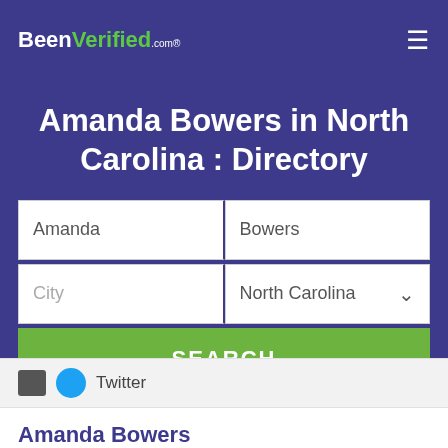BeenVerified.com
Amanda Bowers in North Carolina : Directory
Amanda | Bowers | City | North Carolina | SEARCH
Twitter
Amanda Bowers